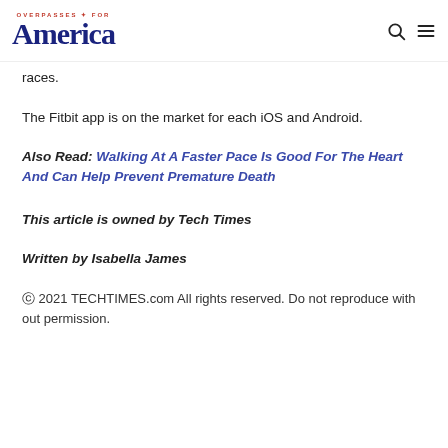OVERPASSES FOR America
races.
The Fitbit app is on the market for each iOS and Android.
Also Read: Walking At A Faster Pace Is Good For The Heart And Can Help Prevent Premature Death
This article is owned by Tech Times
Written by Isabella James
© 2021 TECHTIMES.com All rights reserved. Do not reproduce with out permission.